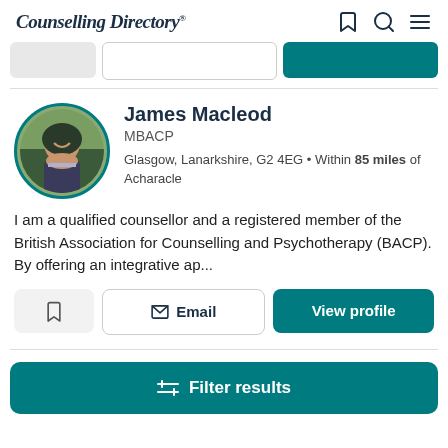Counselling Directory*
[Figure (screenshot): Search bar row with three buttons: gray button, white outlined button, teal filled button]
[Figure (photo): Circular profile photo of James Macleod with teal border, man smiling outdoors]
James Macleod
MBACP
Glasgow, Lanarkshire, G2 4EG • Within 85 miles of Acharacle
I am a qualified counsellor and a registered member of the British Association for Counselling and Psychotherapy (BACP). By offering an integrative ap...
[Figure (screenshot): Action buttons row: bookmark/save button, Email button, View profile teal button]
[Figure (screenshot): Filter results teal button at bottom]